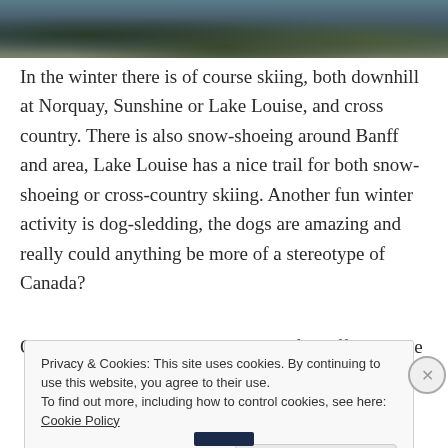[Figure (photo): Partial view of a rocky shoreline or landscape, showing dark water and rocks, top portion of image visible as a strip]
In the winter there is of course skiing, both downhill at Norquay, Sunshine or Lake Louise, and cross country. There is also snow-shoeing around Banff and area, Lake Louise has a nice trail for both snow-shoeing or cross-country skiing. Another fun winter activity is dog-sledding, the dogs are amazing and really could anything be more of a stereotype of Canada?
On this trip we ended up on a tour of Banff and Lake
Privacy & Cookies: This site uses cookies. By continuing to use this website, you agree to their use.
To find out more, including how to control cookies, see here: Cookie Policy

Close and accept